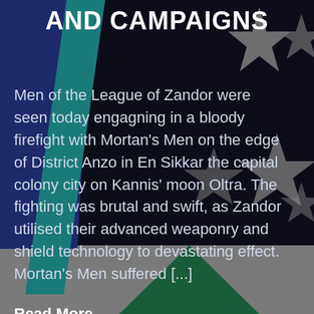AND CAMPAIGNS
Men of the League of Zandor were seen today engagning in a bloody firefight with Mortan’s Men on the edge of District Anzo in En Sikkar the capital colony city on Kannis’ moon Oltra. The fighting was brutal and swift, as Zandor utilised their advanced weaponry and shield technology to devastating effect. Mortan’s Men suffered [...]
Read More